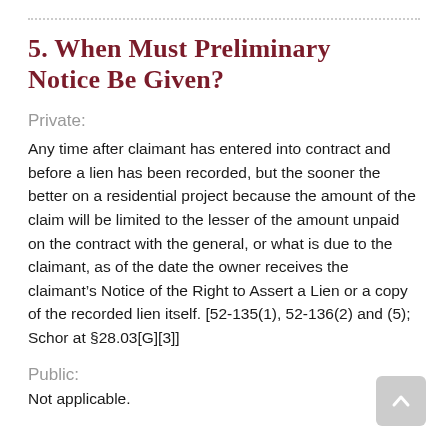5. When Must Preliminary Notice Be Given?
Private:
Any time after claimant has entered into contract and before a lien has been recorded, but the sooner the better on a residential project because the amount of the claim will be limited to the lesser of the amount unpaid on the contract with the general, or what is due to the claimant, as of the date the owner receives the claimant's Notice of the Right to Assert a Lien or a copy of the recorded lien itself. [52-135(1), 52-136(2) and (5); Schor at §28.03[G][3]]
Public:
Not applicable.